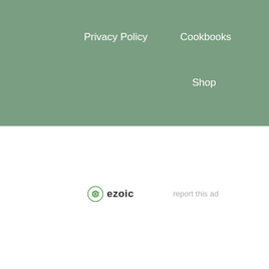Privacy Policy    Cookbooks    Shop
[Figure (logo): Ezoic logo with green circular icon and bold dark text 'ezoic']
report this ad